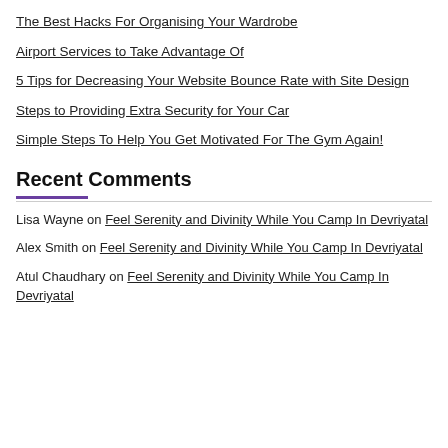The Best Hacks For Organising Your Wardrobe
Airport Services to Take Advantage Of
5 Tips for Decreasing Your Website Bounce Rate with Site Design
Steps to Providing Extra Security for Your Car
Simple Steps To Help You Get Motivated For The Gym Again!
Recent Comments
Lisa Wayne on Feel Serenity and Divinity While You Camp In Devriyatal
Alex Smith on Feel Serenity and Divinity While You Camp In Devriyatal
Atul Chaudhary on Feel Serenity and Divinity While You Camp In Devriyatal